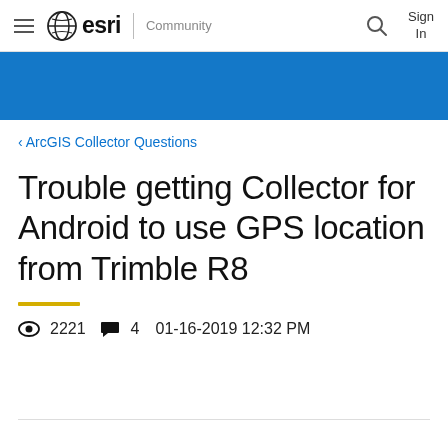esri Community | Sign In
[Figure (other): Blue banner/hero bar]
‹ ArcGIS Collector Questions
Trouble getting Collector for Android to use GPS location from Trimble R8
👁 2221  💬 4   01-16-2019 12:32 PM